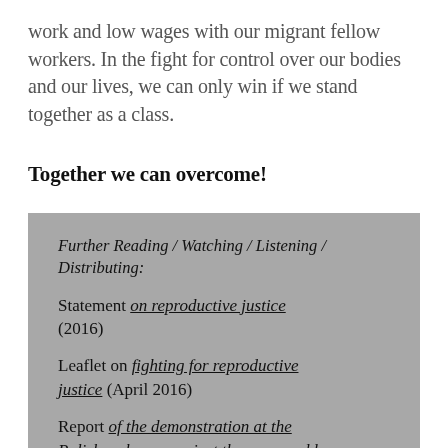work and low wages with our migrant fellow workers. In the fight for control over our bodies and our lives, we can only win if we stand together as a class.
Together we can overcome!
Further Reading / Watching / Listening / Distributing:
Statement on reproductive justice (2016)
Leaflet on fighting for reproductive justice (April 2016)
Report of the demonstration at the Polish embassy against the proposed ban